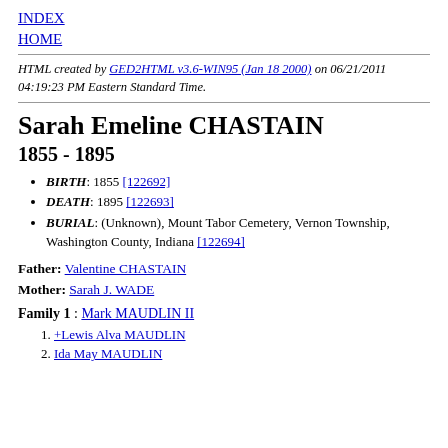INDEX
HOME
HTML created by GED2HTML v3.6-WIN95 (Jan 18 2000) on 06/21/2011 04:19:23 PM Eastern Standard Time.
Sarah Emeline CHASTAIN
1855 - 1895
BIRTH: 1855 [122692]
DEATH: 1895 [122693]
BURIAL: (Unknown), Mount Tabor Cemetery, Vernon Township, Washington County, Indiana [122694]
Father: Valentine CHASTAIN
Mother: Sarah J. WADE
Family 1 : Mark MAUDLIN II
+Lewis Alva MAUDLIN
Ida May MAUDLIN